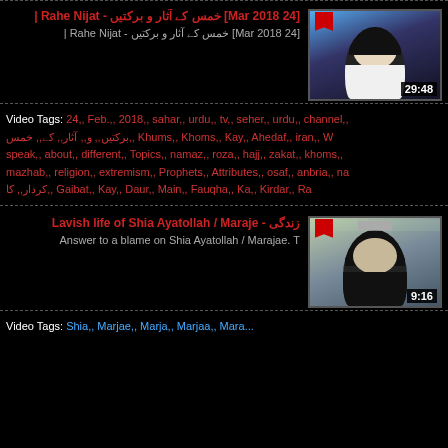[Figure (screenshot): Video thumbnail showing a cleric in white and black attire, duration 29:48]
Rahe Nijat - خمس کے آثار و برکتیں [24 Mar 2018]
Rahe Nijat | خمس کے آثار و برکتیں [24 Mar 2018]
Video Tags: 24, Feb., 2018, sahar, urdu, tv, seher, urdu, channel, خمس, کے, آثار, و, برکتیں, Khums, Khoms, Kay, Ahedaf, iran, W, speak, about, different, Topics, namaz, roza, hajj, zakat, khoms, mazhab, religion, extremism, Prophets, Attributes, osaf, anbria, na, فنا, کا, Gaibat, Kay, Daur, Main, Fauqha, Ka, Kirdar, Ra, کردار
[Figure (screenshot): Video thumbnail showing an elderly cleric seated, duration 9:16]
Lavish life of Shia Ayatollah / Maraje - زندگی
Answer to a blame on Shia Ayatollah / Marajae. T
Video Tags: Shia, Marjae, Marja, Marjaa, Mara...